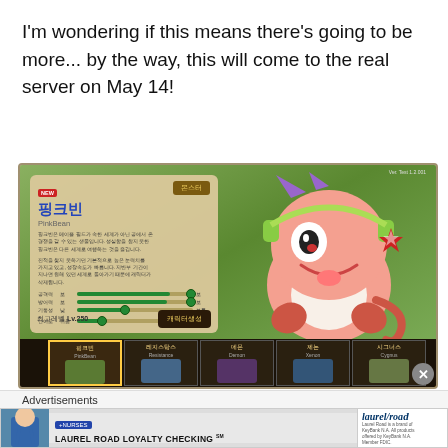I'm wondering if this means there's going to be more... by the way, this will come to the real server on May 14!
[Figure (screenshot): Screenshot of a Korean mobile/PC game (MapleStory) showing a character info screen for 'PinkBean' (핑크빈), a monster with stats bars, level Lv.250, a cartoon pink cat-like character with purple horns and green headphones, and a character selection bar at the bottom showing PinkBean, Resistance, Demon, Xenon, and Cygnus characters.]
Advertisements
[Figure (screenshot): Advertisement banner for 'LAUREL ROAD LOYALTY CHECKING' with +NURSES label, showing a person in blue scrubs on the left and the Laurel Road brand logo on the right with small disclaimer text.]